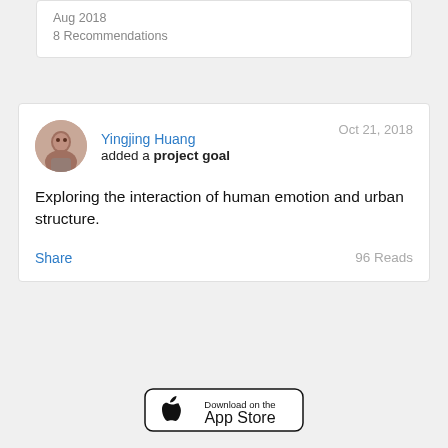Aug 2018
8 Recommendations
Yingjing Huang added a project goal
Oct 21, 2018
Exploring the interaction of human emotion and urban structure.
Share
96 Reads
[Figure (other): Download on the App Store button]